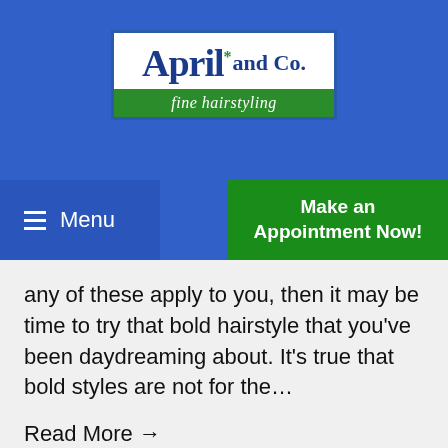[Figure (logo): April and Co. fine hairstyling logo - white box with dark blue serif text 'April and Co.' and green banner with italic 'fine hairstyling']
[Figure (other): Navigation bar with blue 'Menu' button with hamburger icon on left and green 'Make an Appointment Now!' button on right]
any of these apply to you, then it may be time to try that bold hairstyle that you've been daydreaming about. It's true that bold styles are not for the…
Read More →